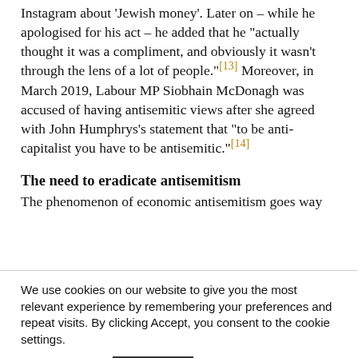James, with 156 million followers, shared a song on Instagram about 'Jewish money'. Later on – while he apologised for his act – he added that he "actually thought it was a compliment, and obviously it wasn't through the lens of a lot of people."[13] Moreover, in March 2019, Labour MP Siobhain McDonagh was accused of having antisemitic views after she agreed with John Humphrys's statement that "to be anti-capitalist you have to be antisemitic."[14]
The need to eradicate antisemitism
The phenomenon of economic antisemitism goes way
We use cookies on our website to give you the most relevant experience by remembering your preferences and repeat visits. By clicking Accept, you consent to the cookie settings.